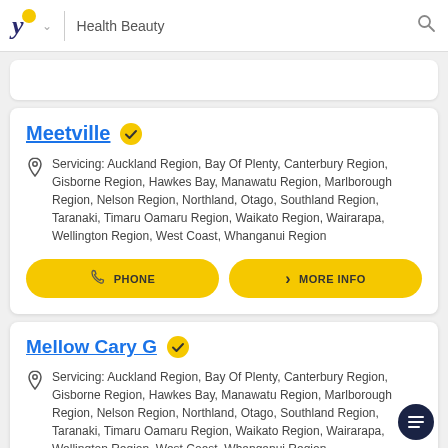Health Beauty
Meetville
Servicing: Auckland Region, Bay Of Plenty, Canterbury Region, Gisborne Region, Hawkes Bay, Manawatu Region, Marlborough Region, Nelson Region, Northland, Otago, Southland Region, Taranaki, Timaru Oamaru Region, Waikato Region, Wairarapa, Wellington Region, West Coast, Whanganui Region
PHONE
MORE INFO
Mellow Cary G
Servicing: Auckland Region, Bay Of Plenty, Canterbury Region, Gisborne Region, Hawkes Bay, Manawatu Region, Marlborough Region, Nelson Region, Northland, Otago, Southland Region, Taranaki, Timaru Oamaru Region, Waikato Region, Wairarapa, Wellington Region, West Coast, Whanganui Region